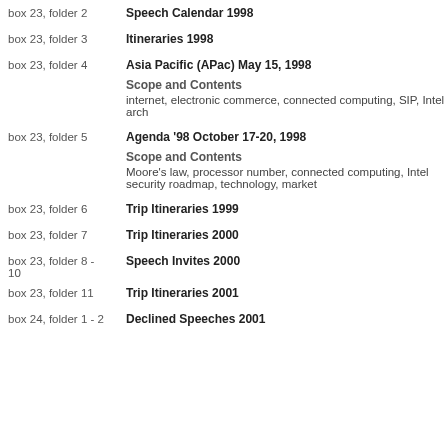box 23, folder 2 — Speech Calendar 1998
box 23, folder 3 — Itineraries 1998
box 23, folder 4 — Asia Pacific (APac) May 15, 1998
Scope and Contents
internet, electronic commerce, connected computing, SIP, Intel arch
box 23, folder 5 — Agenda '98 October 17-20, 1998
Scope and Contents
Moore's law, processor number, connected computing, Intel security roadmap, technology, market
box 23, folder 6 — Trip Itineraries 1999
box 23, folder 7 — Trip Itineraries 2000
box 23, folder 8 - 10 — Speech Invites 2000
box 23, folder 11 — Trip Itineraries 2001
box 24, folder 1 - 2 — Declined Speeches 2001